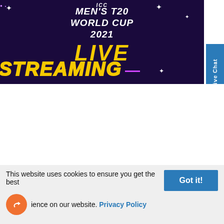[Figure (illustration): ICC Men's T20 World Cup 2021 Live Streaming promotional banner with dark purple/navy background, stars, yellow outlined text reading LIVE STREAMING]
Live Chat
This website uses cookies to ensure you get the best experience on our website. Privacy Policy
Got it!